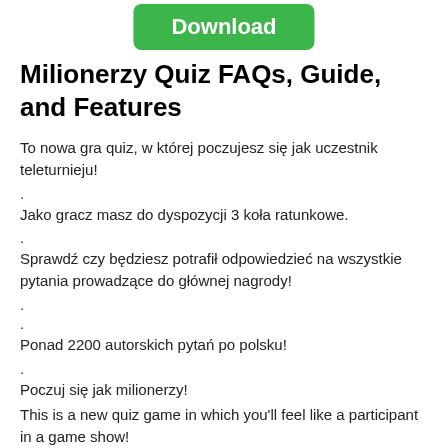[Figure (other): Green Download button]
Milionerzy Quiz FAQs, Guide, and Features
To nowa gra quiz, w której poczujesz się jak uczestnik teleturnieju!
.
Jako gracz masz do dyspozycji 3 koła ratunkowe.
.
Sprawdź czy będziesz potrafił odpowiedzieć na wszystkie pytania prowadzące do głównej nagrody!
.
.
Ponad 2200 autorskich pytań po polsku!
.
Poczuj się jak milionerzy!
This is a new quiz game in which you'll feel like a participant in a game show!